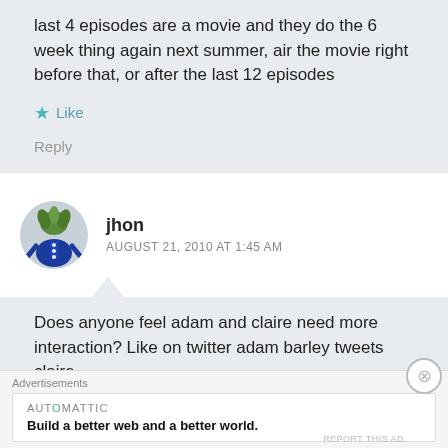last 4 episodes are a movie and they do the 6 week thing again next summer, air the movie right before that, or after the last 12 episodes
Like
Reply
jhon
AUGUST 21, 2010 AT 1:45 AM
Does anyone feel adam and claire need more interaction? Like on twitter adam barley tweets claire I know its not a big deal but it bothers me a little
Advertisements
AUTOMATTIC
Build a better web and a better world.